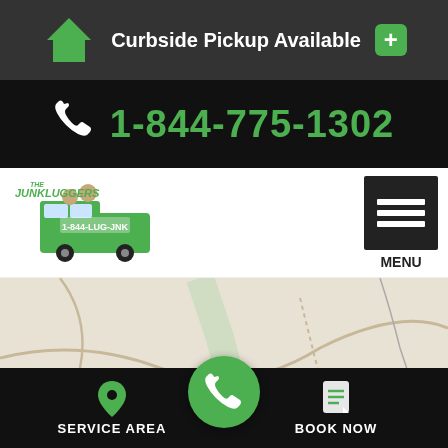Curbside Pickup Available
1-844-775-1302
[Figure (logo): The Junkluggers logo with cartoon characters and green truck]
[Figure (screenshot): Menu hamburger button with MENU label]
[Figure (map): Partial map background showing roads]
SERVICES
Junk Removal
Appliance Removal
SERVICE AREA   BOOK NOW